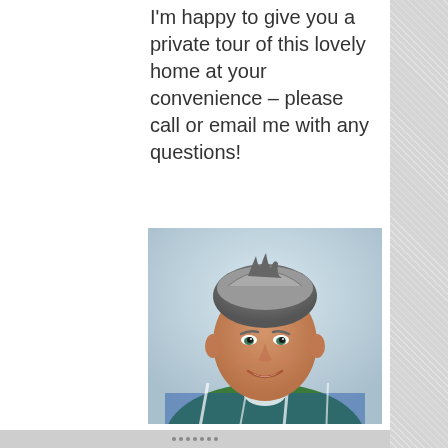I'm happy to give you a private tour of this lovely home at your convenience – please call or email me with any questions!
[Figure (photo): Professional headshot of a middle-aged man with grey hair, smiling, wearing a blue and green plaid shirt, against a light blue/grey background.]